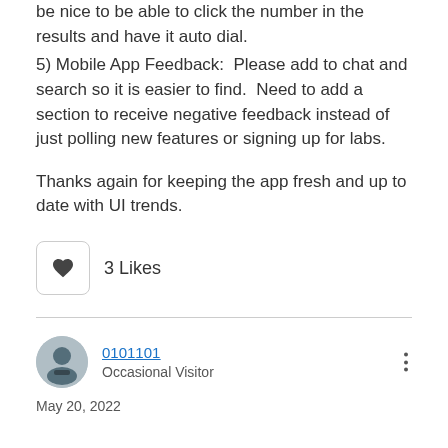be nice to be able to click the number in the results and have it auto dial.
5) Mobile App Feedback:  Please add to chat and search so it is easier to find.  Need to add a section to receive negative feedback instead of just polling new features or signing up for labs.
Thanks again for keeping the app fresh and up to date with UI trends.
3 Likes
0101101
Occasional Visitor
May 20, 2022